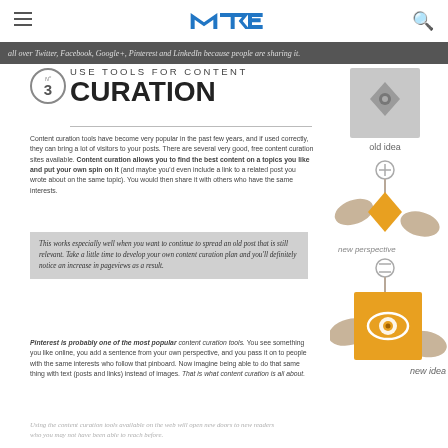MTE logo with hamburger menu and search icon
all over Twitter, Facebook, Google+, Pinterest and LinkedIn because people are sharing it.
USE TOOLS FOR CONTENT CURATION
Content curation tools have become very popular in the past few years, and if used correctly, they can bring a lot of visitors to your posts. There are several very good, free content curation sites available. Content curation allows you to find the best content on a topics you like and put your own spin on it (and maybe you'd even include a link to a related post you wrote about on the same topic). You would then share it with others who have the same interests.
This works especially well when you want to continue to spread an old post that is still relevant. Take a little time to develop your own content curation plan and you'll definitely notice an increase in pageviews as a result.
Pinterest is probably one of the most popular content curation tools. You see something you like online, you add a sentence from your own perspective, and you pass it on to people with the same interests who follow that pinboard. Now imagine being able to do that same thing with text (posts and links) instead of images. That is what content curation is all about.
Using the content curation tools available on the web will open new doors to new readers who you may not have been able to reach before.
[Figure (illustration): Diagram showing old idea (grey diamond icon in grey square) + new perspective (orange marker/pen with hands) = new idea (orange eye icon in orange square with hands). Connected by a vertical line with plus and equals symbols.]